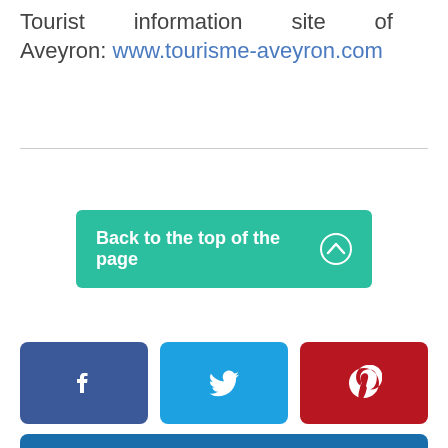Tourist information site of Aveyron: www.tourisme-aveyron.com
Back to the top of the page
[Figure (other): Social media buttons: Facebook, Twitter, Pinterest, Google+]